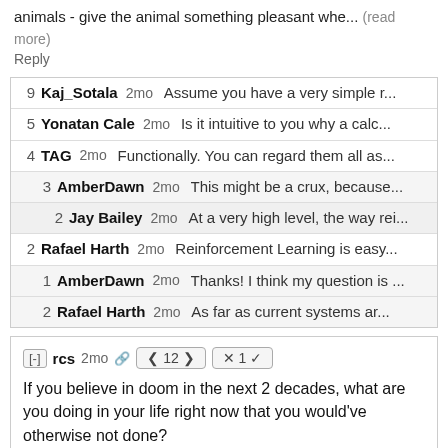animals - give the animal something pleasant whe... (read more)
Reply
| votes | user | time | snippet |
| --- | --- | --- | --- |
| 9 | Kaj_Sotala | 2mo | Assume you have a very simple r... |
| 5 | Yonatan Cale | 2mo | Is it intuitive to you why a calc... |
| 4 | TAG | 2mo | Functionally. You can regard them all as... |
| 3 | AmberDawn | 2mo | This might be a crux, because... |
| 2 | Jay Bailey | 2mo | At a very high level, the way rei... |
| 2 | Rafael Harth | 2mo | Reinforcement Learning is easy... |
| 1 | AmberDawn | 2mo | Thanks! I think my question is ... |
| 2 | Rafael Harth | 2mo | As far as current systems ar... |
[-] rcs  2mo  < 12 >  × 1 ✓
If you believe in doom in the next 2 decades, what are you doing in your life right now that you would've otherwise not done?
For instance, does it make sense to save for retirement if I'm